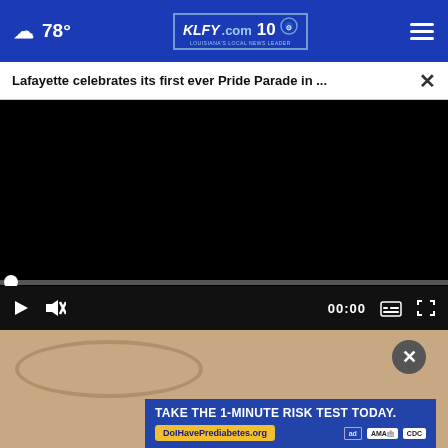☁ 78° | KLFY.com 10 | ☰
Lafayette celebrates its first ever Pride Parade in ... ×
[Figure (screenshot): Video player showing a black video with playback controls: play button, mute button, 00:00 timestamp, subtitle button, fullscreen button. Progress bar near bottom with white circle indicator at start.]
[Figure (photo): Partial thumbnail of person wearing glasses on a tan/wooden background.]
TAKE THE 1-MINUTE RISK TEST TODAY.
DoIHavePrediabetes.org
ad | AMA | CDC